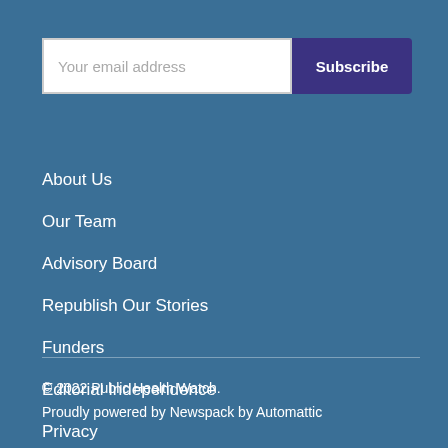Your email address
Subscribe
About Us
Our Team
Advisory Board
Republish Our Stories
Funders
Editorial Independence
Privacy
© 2022 Public Health Watch.
Proudly powered by Newspack by Automattic